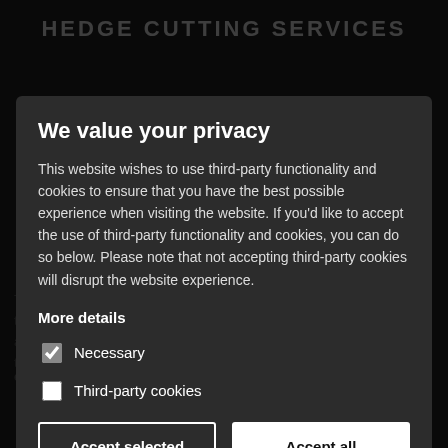HEDGE CUTTING SERVICES
We value your privacy
This website wishes to use third-party functionality and cookies to ensure that you have the best possible experience when visiting the website. If you'd like to accept the use of third-party functionality and cookies, you can do so below. Please note that not accepting third-party cookies will disrupt the website experience.
More details
Necessary
Third-party cookies
Accept selected
Accept all